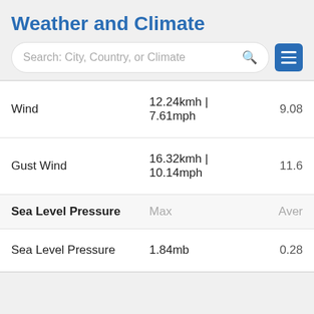Weather and Climate
|  | Max | Ave |
| --- | --- | --- |
| Wind | 12.24kmh | 7.61mph | 9.08 |
| Gust Wind | 16.32kmh | 10.14mph | 11.6 |
| Sea Level Pressure | Max | Aver |
| Sea Level Pressure | 1.84mb | 0.28 |
January 2012 Graph